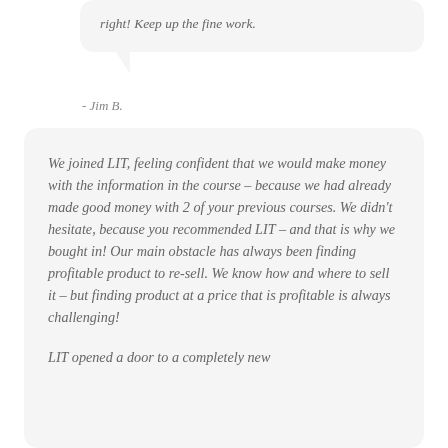right! Keep up the fine work.
- Jim B.
We joined LIT, feeling confident that we would make money with the information in the course – because we had already made good money with 2 of your previous courses. We didn't hesitate, because you recommended LIT – and that is why we bought in! Our main obstacle has always been finding profitable product to re-sell. We know how and where to sell it – but finding product at a price that is profitable is always challenging!
LIT opened a door to a completely new